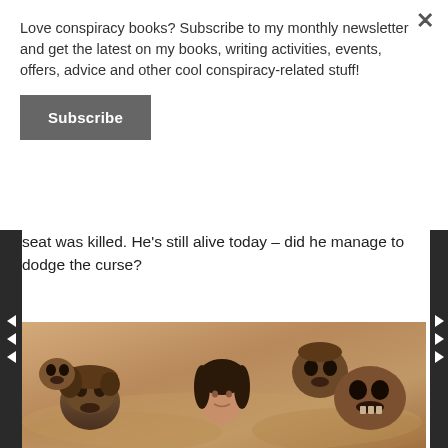Love conspiracy books? Subscribe to my monthly newsletter and get the latest on my books, writing activities, events, offers, advice and other cool conspiracy-related stuff!
Subscribe
seat was killed. He's still alive today – did he manage to dodge the curse?
[Figure (photo): Sepia-toned photo showing a woman's face surrounded by several skull-like figures partially buried in sandy ground]